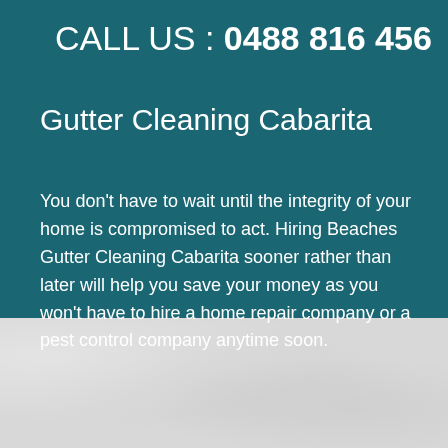CALL US : 0488 816 456
Gutter Cleaning Cabarita
You don't have to wait until the integrity of your home is compromised to act. Hiring Beaches Gutter Cleaning Cabarita sooner rather than later will help you save your money as you won't have to hire a home repair company or a pest control company anytime soon.
[Figure (photo): Light gray textured stone or concrete background at the bottom of the page]